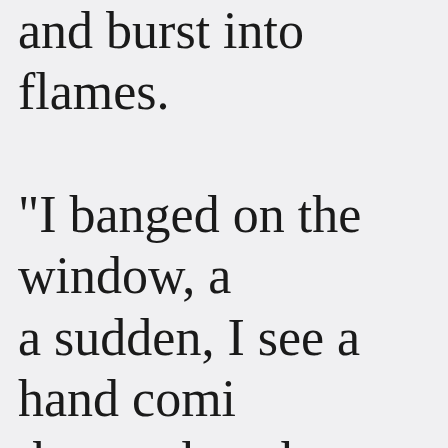and burst into flames. "I banged on the window, a sudden, I see a hand comi the smoke where they had t side airbag. Her hand came around it, and I noticed her fingernails," Borgstrom sai the glass with my fist, coul ran back to my tow truck, g